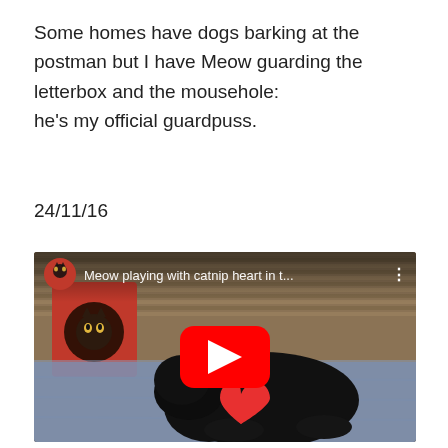Some homes have dogs barking at the postman but I have Meow guarding the letterbox and the mousehole:
he's my official guardpuss.
24/11/16
[Figure (screenshot): YouTube video thumbnail showing a black cat lying on a blue blanket with a red catnip heart toy. Video title reads 'Meow playing with catnip heart in t...' with a YouTube play button overlay and channel avatar in top-left.]